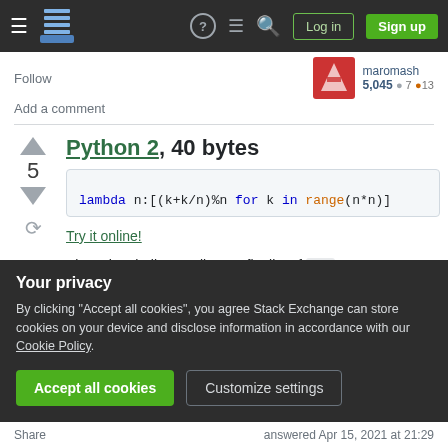Stack Exchange navigation bar with Log in and Sign up buttons
Follow   Add a comment   5,045  7  13
Python 2, 40 bytes
lambda n:[(k+k/n)%n for k in range(n*n)]
Try it online!
Since the challenge allows a flat list of n*n outputs,
Your privacy
By clicking "Accept all cookies", you agree Stack Exchange can store cookies on your device and disclose information in accordance with our Cookie Policy.
Accept all cookies   Customize settings
Share   answered Apr 15, 2021 at 21:29